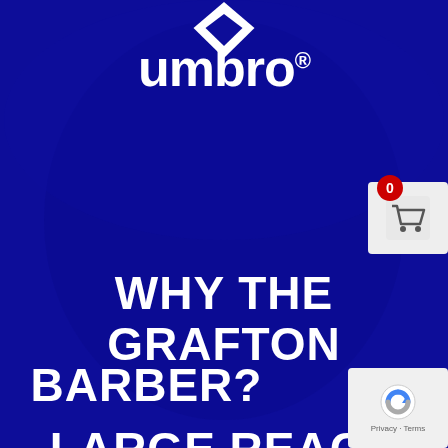[Figure (logo): Umbro brand logo in white on dark navy blue background, showing the Umbro wordmark with registered trademark symbol and diamond/shield shape above]
[Figure (other): Shopping cart icon with red badge showing 0 items, on light grey rounded rectangle background]
WHY THE GRAFTON BARBER?
LARGE REACH
[Figure (other): Google reCAPTCHA widget showing circular arrow logo with Privacy and Terms text links]